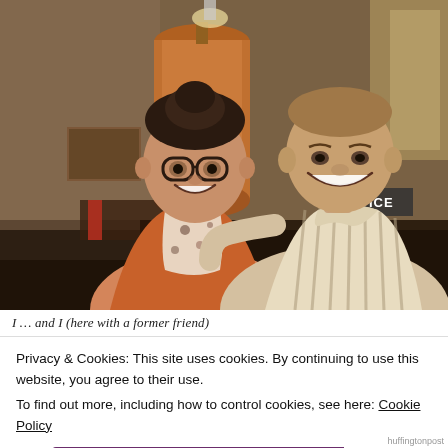[Figure (photo): Two people smiling and posing together in what appears to be a brewery or industrial-style restaurant. A woman with glasses and dark hair wearing a floral top and orange cardigan is on the left, and a man with a shaved head wearing a striped button-up shirt is on the right. In the background is a large copper brewing tank and a sign that reads OFFICE.]
I … and I (here with a former friend)
Privacy & Cookies: This site uses cookies. By continuing to use this website, you agree to their use.
To find out more, including how to control cookies, see here: Cookie Policy
Close and accept